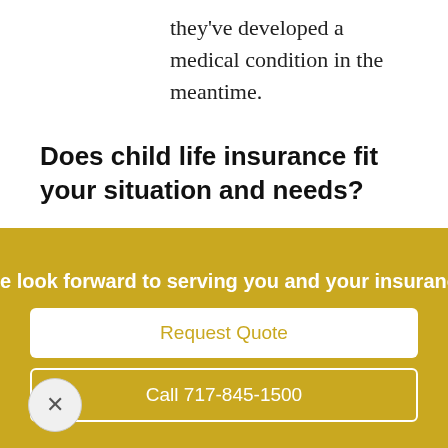they've developed a medical condition in the meantime.
Does child life insurance fit your situation and needs?
How relevant and significant these benefits are will depend on your financial circumstances, your other savings, and investments and your attitude toward risk.
e look forward to serving you and your insurance needs
Request Quote
Call 717-845-1500